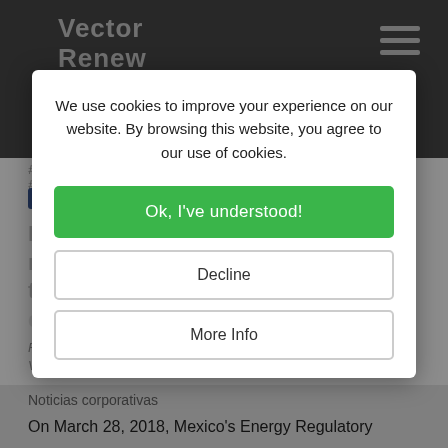Vector Renewables
#advisory, #asset management, #auction, #fai...
Mexico remains committed to renewable energies and announces the rules of its fourth long-term electricity auction
Friday, 13 April 2018
Vector Renewables
Noticias corporativas
On March 28, 2018, Mexico's Energy Regulatory
We use cookies to improve your experience on our website. By browsing this website, you agree to our use of cookies.

Ok, I've understood!
Decline
More Info